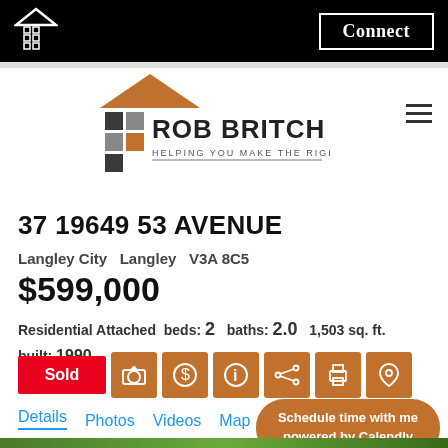Connect
[Figure (logo): Rob Britch real estate logo with house graphic and tagline HELPING YOU MAKE THE RIGHT MOVE]
37 19649 53 AVENUE
Langley City  Langley  V3A 8C5
$599,000
Residential Attached  beds: 2  baths: 2.0  1,503 sq. ft.  built: 1990
Sold
Details  Photos  Videos  Map
Schedule time with me powered by Calendly
[Figure (photo): Bottom strip showing trees/outdoor photo]